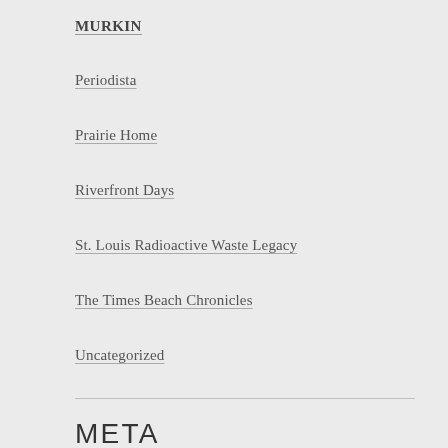MURKIN
Periodista
Prairie Home
Riverfront Days
St. Louis Radioactive Waste Legacy
The Times Beach Chronicles
Uncategorized
META
Register
Log in
Entries feed
Comments feed